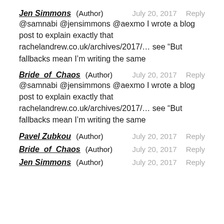Jen Simmons (Author)  July 20, 2017  Reply
@samnabi @jensimmons @aexmo I wrote a blog post to explain exactly that rachelandrew.co.uk/archives/2017/… see “But fallbacks mean I’m writing the same
Bride_of_Chaos (Author)  July 20, 2017  Reply
@samnabi @jensimmons @aexmo I wrote a blog post to explain exactly that rachelandrew.co.uk/archives/2017/… see “But fallbacks mean I’m writing the same
Pavel Zubkou (Author)  July 20, 2017  Reply
Bride_of_Chaos (Author)  July 20, 2017  Reply
Jen Simmons (Author)  July 20, 2017  Reply